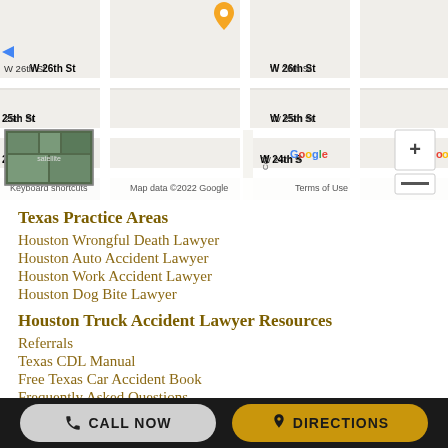[Figure (map): Google Maps screenshot showing street grid with W 26th St, W 25th St, W 24th St labels, a satellite thumbnail in lower left, Google branding and map controls including zoom in (+) and zoom out (-) buttons. Map data ©2022 Google.]
Texas Practice Areas
Houston Wrongful Death Lawyer
Houston Auto Accident Lawyer
Houston Work Accident Lawyer
Houston Dog Bite Lawyer
Houston Truck Accident Lawyer Resources
Referrals
Texas CDL Manual
Free Texas Car Accident Book
Frequently Asked Questions
CALL NOW | DIRECTIONS